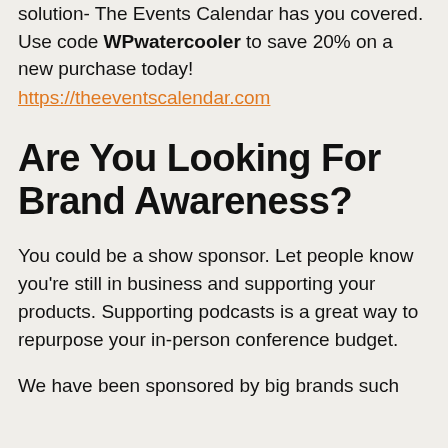solution- The Events Calendar has you covered. Use code WPwatercooler to save 20% on a new purchase today!
https://theeventscalendar.com
Are You Looking For Brand Awareness?
You could be a show sponsor. Let people know you're still in business and supporting your products. Supporting podcasts is a great way to repurpose your in-person conference budget.
We have been sponsored by big brands such